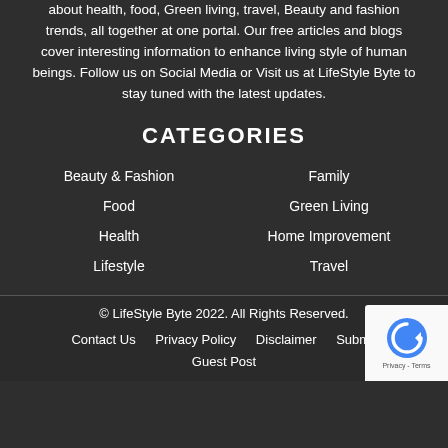about health, food, Green living, travel, Beauty and fashion trends, all together at one portal. Our free articles and blogs cover interesting information to enhance living style of human beings. Follow us on Social Media or Visit us at LifeStyle Byte to stay tuned with the latest updates.
CATEGORIES
Beauty & Fashion
Family
Food
Green Living
Health
Home Improvement
Lifestyle
Travel
© LifeStyle Byte 2022. All Rights Reserved.
Contact Us   Privacy Policy   Disclaimer   Submit   Guest Post